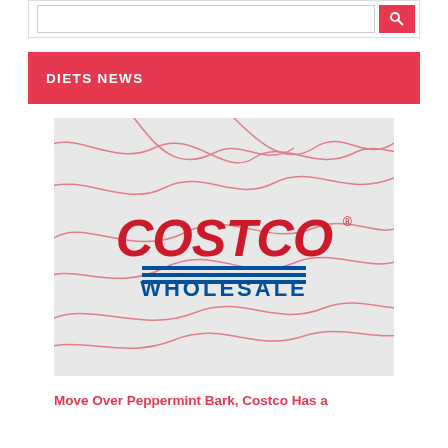DIETS NEWS
[Figure (logo): Costco Wholesale logo on a light gray background with decorative red wavy lines]
Move Over Peppermint Bark, Costco Has a